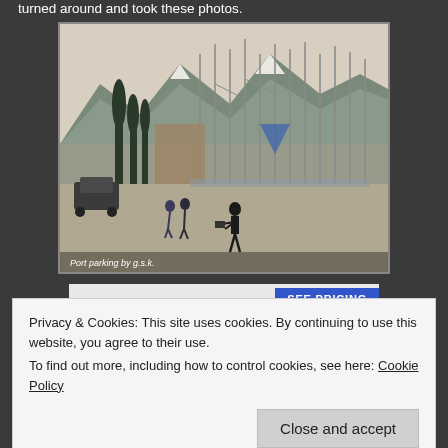turned around and took these photos.
[Figure (photo): A marina/port scene with sailboats docked along a pier, mountains with snow in the background, cypress trees on the left, people walking on the waterfront, and a car parked on the left side. Caption reads 'Port parking by g.s.k.']
Port parking by g.s.k.
SEE PRICING
Privacy & Cookies: This site uses cookies. By continuing to use this website, you agree to their use.
To find out more, including how to control cookies, see here: Cookie Policy
Close and accept